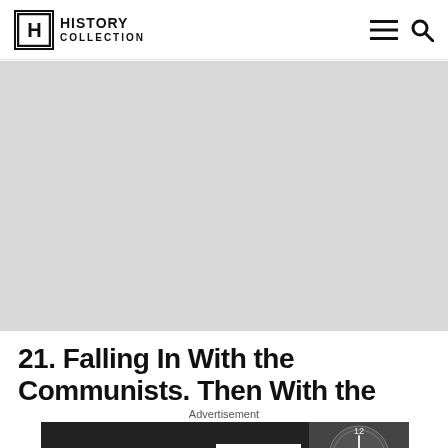History Collection
[Figure (photo): Large gray placeholder image area below the header navigation]
21. Falling In With the Communists. Then With the
Advertisement
[Figure (photo): Advertisement banner: TWTWTW SHOP NOW with a watch/clock image and HOMAGE branding]